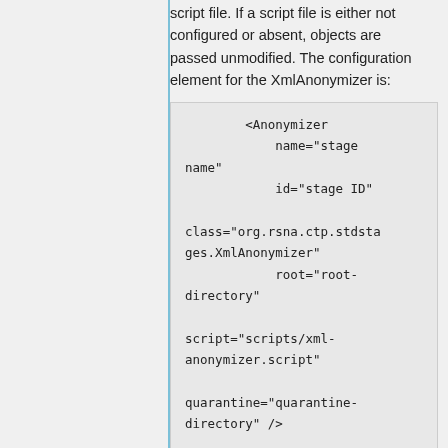The XmlAnonymizer is configured with a script file. If a script file is either not configured or absent, objects are passed unmodified. The configuration element for the XmlAnonymizer is:
<Anonymizer
            name="stage name"
            id="stage ID"
 class="org.rsna.ctp.stdstages.XmlAnonymizer"
            root="root-directory"
 script="scripts/xml-anonymizer.script"
 quarantine="quarantine-directory" />
where: